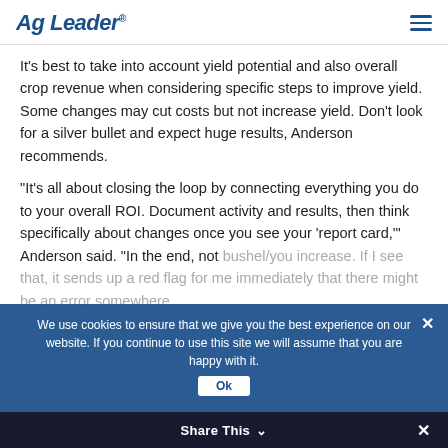Ag Leader®
It’s best to take into account yield potential and also overall crop revenue when considering specific steps to improve yield. Some changes may cut costs but not increase yield. Don’t look for a silver bullet and expect huge results, Anderson recommends.
“It’s all about closing the loop by connecting everything you do to your overall ROI. Document activity and results, then think specifically about changes once you see your ‘report card,’” Anderson said. “In the end, not bushel/you increase. If I see that, it sends up a red flag for me immediately that there might be an error somewhere...
We use cookies to ensure that we give you the best experience on our website. If you continue to use this site we will assume that you are happy with it.
Share This